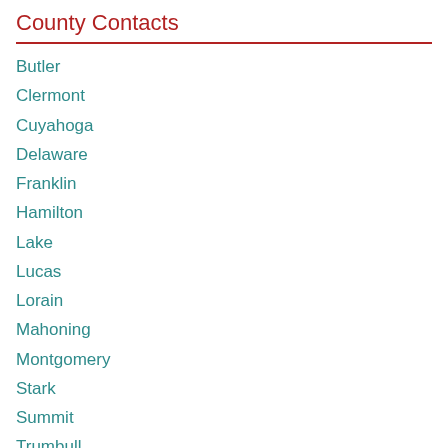County Contacts
Butler
Clermont
Cuyahoga
Delaware
Franklin
Hamilton
Lake
Lucas
Lorain
Mahoning
Montgomery
Stark
Summit
Trumbull
Warren
More Contacts...